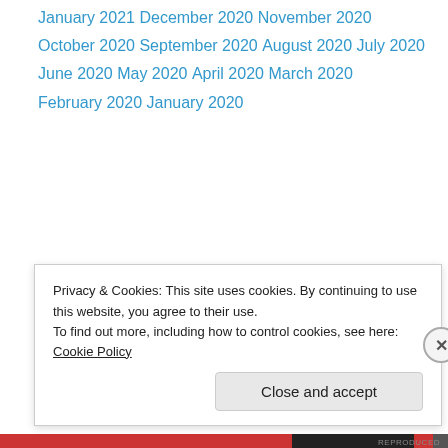January 2021
December 2020
November 2020
October 2020
September 2020
August 2020
July 2020
June 2020
May 2020
April 2020
March 2020
February 2020
January 2020
Privacy & Cookies: This site uses cookies. By continuing to use this website, you agree to their use.
To find out more, including how to control cookies, see here: Cookie Policy
Close and accept